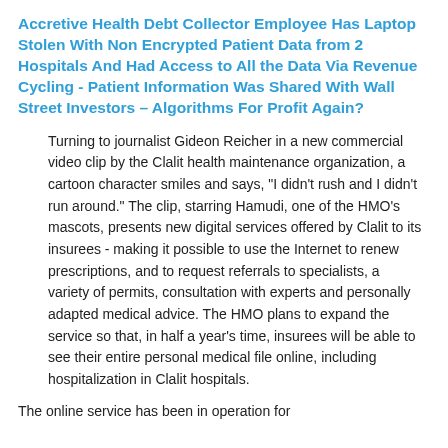Accretive Health Debt Collector Employee Has Laptop Stolen With Non Encrypted Patient Data from 2 Hospitals And Had Access to All the Data Via Revenue Cycling - Patient Information Was Shared With Wall Street Investors – Algorithms For Profit Again?
Turning to journalist Gideon Reicher in a new commercial video clip by the Clalit health maintenance organization, a cartoon character smiles and says, "I didn't rush and I didn't run around." The clip, starring Hamudi, one of the HMO's mascots, presents new digital services offered by Clalit to its insurees - making it possible to use the Internet to renew prescriptions, and to request referrals to specialists, a variety of permits, consultation with experts and personally adapted medical advice. The HMO plans to expand the service so that, in half a year's time, insurees will be able to see their entire personal medical file online, including hospitalization in Clalit hospitals.
The online service has been in operation for more than half a year, but only now, after the...